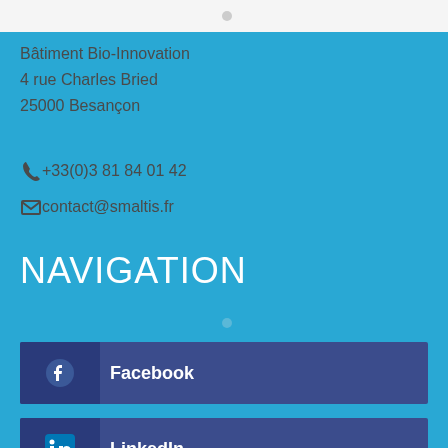Bâtiment Bio-Innovation
4 rue Charles Bried
25000 Besançon
+33(0)3 81 84 01 42
contact@smaltis.fr
NAVIGATION
Facebook
LinkedIn
Download SMALTIS brochure